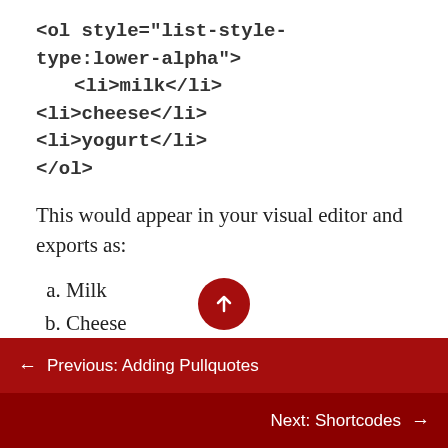<ol style="list-style-type:lower-alpha">
    <li>milk</li>
<li>cheese</li>
<li>yogurt</li>
</ol>
This would appear in your visual editor and exports as:
a. Milk
b. Cheese
c. Yogurt
Create the list first through the visual editor
← Previous: Adding Pullquotes
Next: Shortcodes →